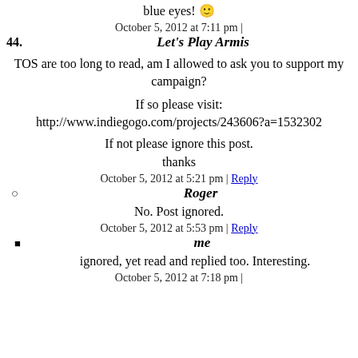blue eyes! 🙂
October 5, 2012 at 7:11 pm |
44. Let's Play Armis
TOS are too long to read, am I allowed to ask you to support my campaign?
If so please visit:
http://www.indiegogo.com/projects/243606?a=1532302
If not please ignore this post.
thanks
October 5, 2012 at 5:21 pm | Reply
○ Roger
No. Post ignored.
October 5, 2012 at 5:53 pm | Reply
■ me
ignored, yet read and replied too. Interesting.
October 5, 2012 at 7:18 pm |